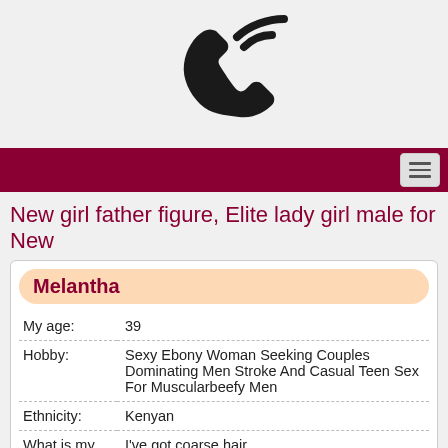[Figure (illustration): Phone icon with signal waves on light gray background]
New girl father figure, Elite lady girl male for New
| My age: | 39 |
| Hobby: | Sexy Ebony Woman Seeking Couples Dominating Men Stroke And Casual Teen Sex For Muscularbeefy Men |
| Ethnicity: | Kenyan |
| What is my hair: | I've got coarse hair |
| What I like to drink: | White wine |
| Smoker: | No |